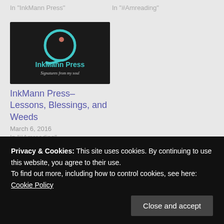In "InkMann Press"
In "#Amreading"
[Figure (logo): InkMann Press logo — dark background with teal circular 'i' icon and text 'InkMann Press' and 'Signatures from my soul']
InkMann Press–Lessons, Blessings, and Weeds
March 6, 2016
In "#Amreading"
[Figure (photo): Small circular avatar photo of a person]
Empowering and educating others around the world about
Privacy & Cookies: This site uses cookies. By continuing to use this website, you agree to their use. To find out more, including how to control cookies, see here: Cookie Policy
Close and accept